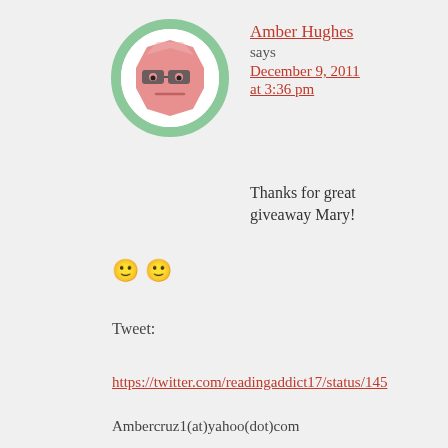[Figure (illustration): Avatar image of a cartoon character resembling a pink octagon with glasses and a flat expression, set within a circular green-bordered frame]
Amber Hughes
says
December 9, 2011
at 3:36 pm
Thanks for great giveaway Mary! 🙂 🙂
Tweet:
https://twitter.com/readingaddict17/status/145
Ambercruz1(at)yahoo(dot)com
Reply